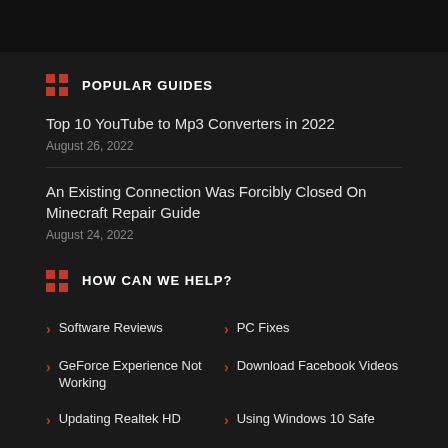POPULAR GUIDES
Top 10 YouTube to Mp3 Converters in 2022
August 26, 2022
An Existing Connection Was Forcibly Closed On Minecraft Repair Guide
August 24, 2022
HOW CAN WE HELP?
Software Reviews
PC Fixes
GeForce Experience Not Working
Download Facebook Videos
Updating Realtek HD
Using Windows 10 Safe